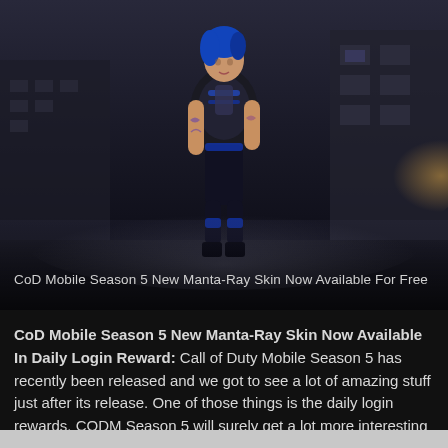[Figure (illustration): A female video game character with blue hair wearing black tactical armor and blue accents, standing against a dark urban background with fog/mist effects. The character is from CoD Mobile (Manta-Ray skin).]
CoD Mobile Season 5 New Manta-Ray Skin Now Available For Free
CoD Mobile Season 5 New Manta-Ray Skin Now Available In Daily Login Reward: Call of Duty Mobile Season 5 has recently been released and we got to see a lot of amazing stuff just after its release. One of those things is the daily login rewards. CODM Season 5 will surely get a lot more interesting in the upcoming days. Nevertheless, this article